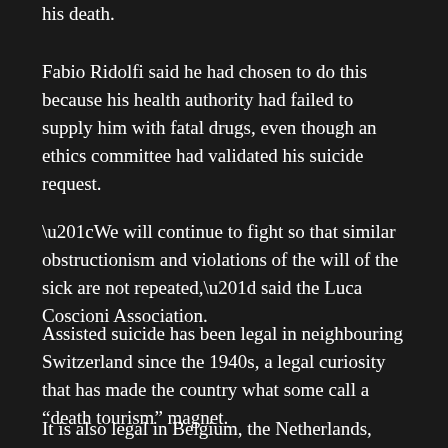his death.
Fabio Ridolfi said he had chosen to do this because his health authority had failed to supply him with fatal drugs, even though an ethics committee had validated his suicide request.
“We will continue to fight so that similar obstructionism and violations of the will of the sick are not repeated,” said the Luca Coscioni Association.
Assisted suicide has been legal in neighbouring Switzerland since the 1940s, a legal curiosity that has made the country what some call a “death tourism” magnet.
It is also legal in Belgium, the Netherlands, Luxembourg